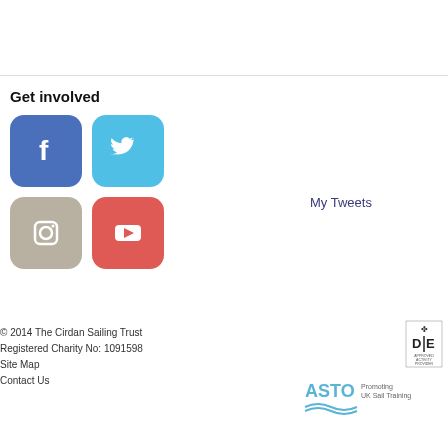Get involved
[Figure (illustration): Four social media icon buttons: Facebook (blue), Twitter (light blue), Instagram (grey/tan), YouTube (red-pink)]
My Tweets
© 2014 The Cirdan Sailing Trust
Registered Charity No: 1091598
Site Map
Contact Us
[Figure (logo): Duke of Edinburgh Approved Activity Provider badge]
[Figure (logo): ASTO Promoting UK Sail Training logo]